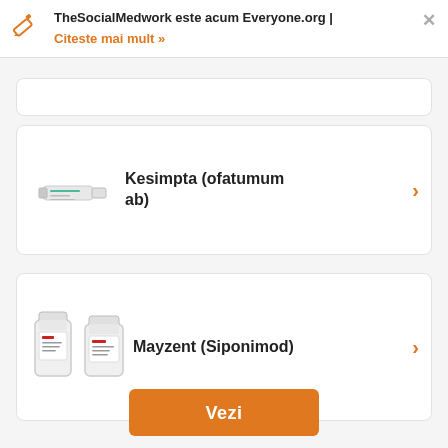TheSocialMedwork este acum Everyone.org | Citeste mai mult »
Kesimpta (ofatumum ab)
Mayzent (Siponimod)
Vezi